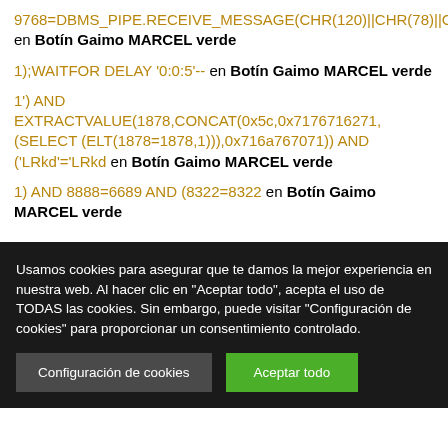9768=DBMS_PIPE.RECEIVE_MESSAGE(CHR(120)||CHR(78)||CHR(85)||CHR(117),5) en Botín Gaimo MARCEL verde
1);WAITFOR DELAY '0:0:5'-- en Botín Gaimo MARCEL verde
1') AND EXTRACTVALUE(1878,CONCAT(0x5c,0x7176716271,(SELECT (ELT(1878=1878,1))),0x716a767071)) AND ('LRkd'='LRkd en Botín Gaimo MARCEL verde
1) AND 8888=6689 AND (8322=8322 en Botín Gaimo MARCEL verde
Usamos cookies para asegurar que te damos la mejor experiencia en nuestra web. Al hacer clic en "Aceptar todo", acepta el uso de TODAS las cookies. Sin embargo, puede visitar "Configuración de cookies" para proporcionar un consentimiento controlado.